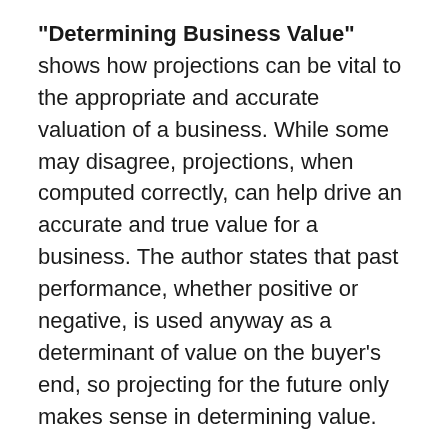"Determining Business Value" shows how projections can be vital to the appropriate and accurate valuation of a business. While some may disagree, projections, when computed correctly, can help drive an accurate and true value for a business. The author states that past performance, whether positive or negative, is used anyway as a determinant of value on the buyer's end, so projecting for the future only makes sense in determining value.
Projections help sellers get inside the buyer's head during the sale process: understanding the risk/reward relationship within a business is vital to a prospective buyer, so understanding